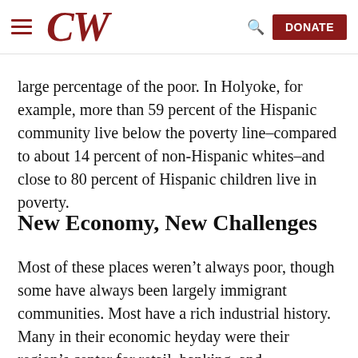CW — navigation bar with hamburger menu, CW logo, search icon, and DONATE button
large percentage of the poor. In Holyoke, for example, more than 59 percent of the Hispanic community live below the poverty line–compared to about 14 percent of non-Hispanic whites–and close to 80 percent of Hispanic children live in poverty.
New Economy, New Challenges
Most of these places weren't always poor, though some have always been largely immigrant communities. Most have a rich industrial history. Many in their economic heyday were their region's center for retail, banking, and manufacturing. At one time, their banks were